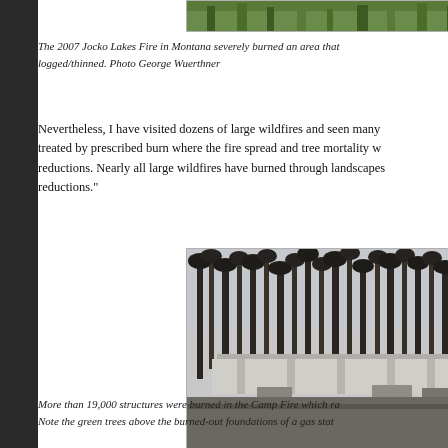[Figure (photo): Top portion of a photo showing green vegetation/trees from the 2007 Jocko Lakes Fire area, partially visible at the top of the page]
The 2007 Jocko Lakes Fire in Montana severely burned an area that logged/thinned. Photo George Wuerthner
Nevertheless, I have visited dozens of large wildfires and seen many treated by prescribed burn where the fire spread and tree mortality w reductions. Nearly all large wildfires have burned through landscapes reductions."
[Figure (photo): Photo showing burned trees (dark trunks) after the Camp Fire with a gas station structure visible beneath, surrounded by charred forest. Green trees visible above burned foundations.]
More than 19,000 structures were burned in the Camp Fire which ra Note the green trees above the burned-out foundations of a gas stat